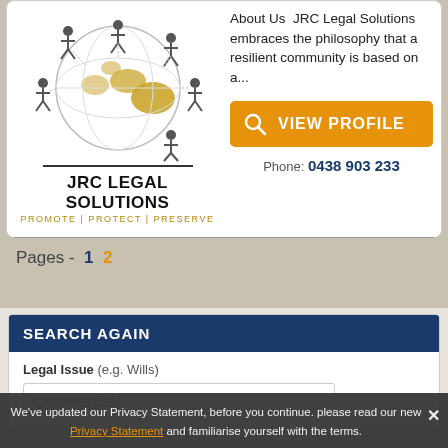[Figure (logo): JRC Legal Solutions logo with globe and people figures, company name and tagline PROMOTE | PROTECT | PRESERVE]
About Us  JRC Legal Solutions embraces the philosophy that a resilient community is based on a...
[Figure (other): Orange VIEW PROFILE button with magnifying glass icon]
Phone: 0438 903 233
Pages - 1 2
SEARCH AGAIN
Legal Issue (e.g. Wills)
Commercial
We've updated our Privacy Statement, before you continue. please read our new Privacy Statement and familiarise yourself with the terms.